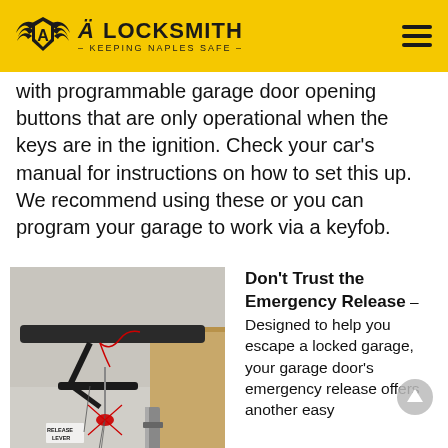Ä Locksmith – Keeping Naples Safe
with programmable garage door opening buttons that are only operational when the keys are in the ignition. Check your car's manual for instructions on how to set this up. We recommend using these or you can program your garage to work via a keyfob.
[Figure (photo): Photo of a garage door emergency release mechanism showing a release lever and release cord with red handle, mounted on the garage door track and opener rail on the ceiling.]
Don't Trust the Emergency Release – Designed to help you escape a locked garage, your garage door's emergency release offers another easy